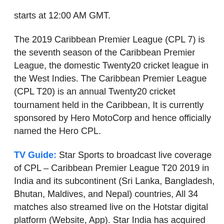starts at 12:00 AM GMT.
The 2019 Caribbean Premier League (CPL 7) is the seventh season of the Caribbean Premier League, the domestic Twenty20 cricket league in the West Indies. The Caribbean Premier League (CPL T20) is an annual Twenty20 cricket tournament held in the Caribbean, It is currently sponsored by Hero MotoCorp and hence officially named the Hero CPL.
TV Guide: Star Sports to broadcast live coverage of CPL – Caribbean Premier League T20 2019 in India and its subcontinent (Sri Lanka, Bangladesh, Bhutan, Maldives, and Nepal) countries, All 34 matches also streamed live on the Hotstar digital platform (Website, App). Star India has acquired exclusive media rights from CPL governing body and the Cricket West Indies (CWI) for the two years.
Sky Sports has acquired exclusive broadcasting rights for